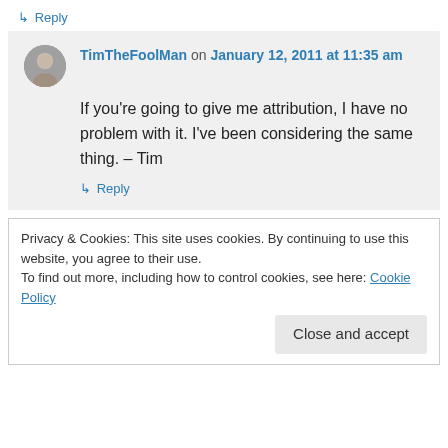↳ Reply
TimTheFoolMan on January 12, 2011 at 11:35 am
If you're going to give me attribution, I have no problem with it. I've been considering the same thing. – Tim
↳ Reply
Privacy & Cookies: This site uses cookies. By continuing to use this website, you agree to their use.
To find out more, including how to control cookies, see here: Cookie Policy
Close and accept